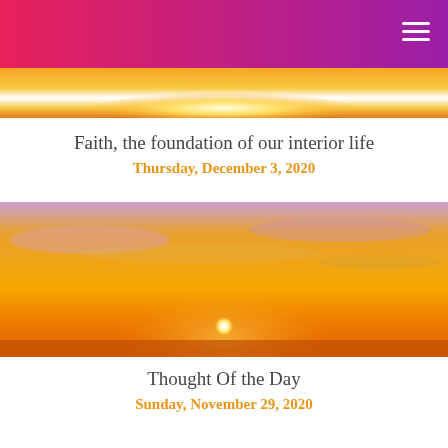[Figure (photo): Partial top of a glowing sunrise or sunset image with orange and yellow tones]
Faith, the foundation of our interior life
Thursday, December 3, 2020
[Figure (photo): Bright golden orange sunset with large white-yellow sun on horizon, dramatic clouds lit in warm tones]
Thought Of the Day
Sunday, November 29, 2020